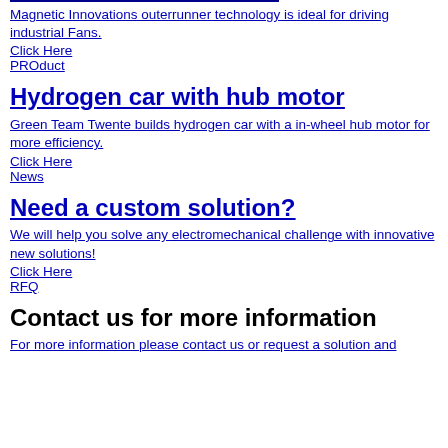Magnetic Innovations outerrunner technology is ideal for driving industrial Fans.
Click Here
PROduct
Hydrogen car with hub motor
Green Team Twente builds hydrogen car with a in-wheel hub motor for more efficiency.
Click Here
News
Need a custom solution?
We will help you solve any electromechanical challenge with innovative new solutions!
Click Here
RFQ
Contact us for more information
For more information please contact us or request a solution and